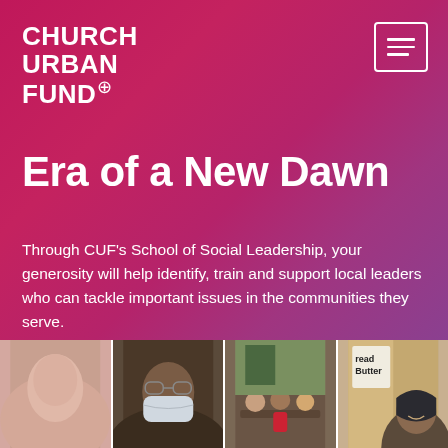CHURCH URBAN FUND
Era of a New Dawn
Through CUF's School of Social Leadership, your generosity will help identify, train and support local leaders who can tackle important issues in the communities they serve.
[Figure (photo): Photo strip of four community members including a person in a face mask and a person wearing a headscarf, with a Bread Butter sign visible in one panel]